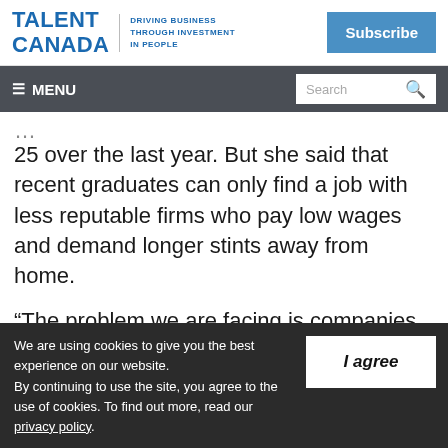TALENT CANADA | DRIVING BUSINESS THROUGH INVESTMENT IN PEOPLE | Subscribe
≡ MENU | Search
25 over the last year. But she said that recent graduates can only find a job with less reputable firms who pay low wages and demand longer stints away from home.
“The problem we are facing is companies are
We are using cookies to give you the best experience on our website. By continuing to use the site, you agree to the use of cookies. To find out more, read our privacy policy.